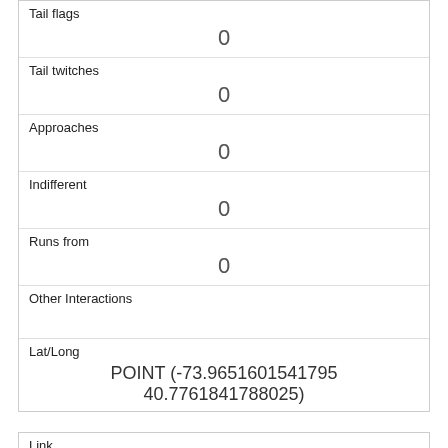| Tail flags | 0 |
| Tail twitches | 0 |
| Approaches | 0 |
| Indifferent | 0 |
| Runs from | 0 |
| Other Interactions |  |
| Lat/Long | POINT (-73.9651601541795 40.7761841788025) |
| Link | 126 |
| rowid | 126 |
| longitude | -73.97921554736891 |